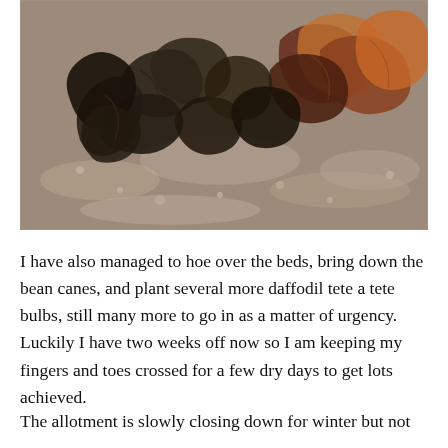[Figure (photo): Close-up photograph of dried, dark brown and black dead leaves/plant material scattered on sandy/gravelly soil or compost. The leaves appear wilted and dead, possibly from bulb plants or brassicas.]
I have also managed to hoe over the beds, bring down the bean canes, and plant several more daffodil tete a tete bulbs, still many more to go in as a matter of urgency.
Luckily I have two weeks off now so I am keeping my fingers and toes crossed for a few dry days to get lots achieved.
The allotment is slowly closing down for winter but not